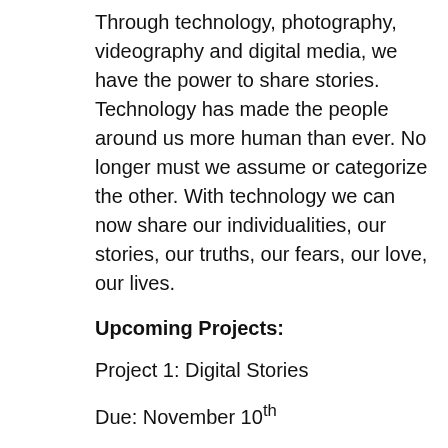Through technology, photography, videography and digital media, we have the power to share stories. Technology has made the people around us more human than ever. No longer must we assume or categorize the other. With technology we can now share our individualities, our stories, our truths, our fears, our love, our lives.
Upcoming Projects:
Project 1: Digital Stories
Due: November 10th
By the end of the week I will have created my digital story about why I want to attend the